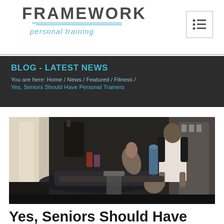FRAMEWORK personal training
BLOG - LATEST NEWS
You are here: Home / News / Featured / Fitness / Yes, Seniors Should Have Personal Trainers
[Figure (photo): A personal trainer standing over a senior client who is lying on a bench performing an exercise, in a gym setting with equipment visible in the background.]
Yes, Seniors Should Have